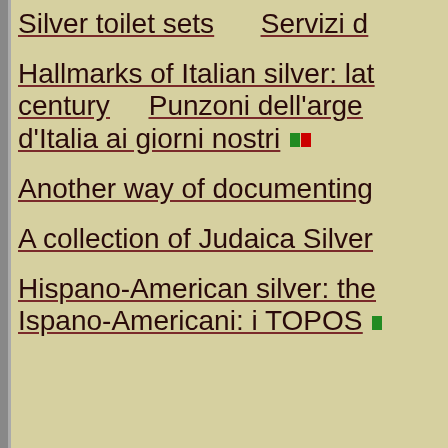Silver toilet sets    Servizi d…
Hallmarks of Italian silver: lat… century    Punzoni dell'arge… d'Italia ai giorni nostri
Another way of documenting…
A collection of Judaica Silver…
Hispano-American silver: the… Ispano-Americani: i TOPOS…